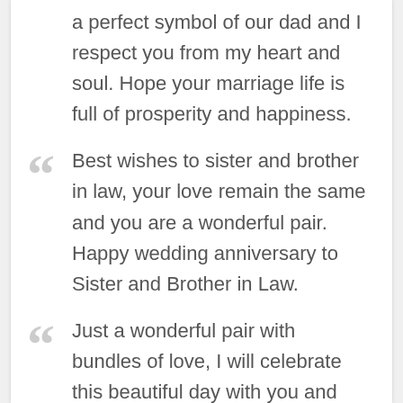a perfect symbol of our dad and I respect you from my heart and soul. Hope your marriage life is full of prosperity and happiness.
Best wishes to sister and brother in law, your love remain the same and you are a wonderful pair. Happy wedding anniversary to Sister and Brother in Law.
Just a wonderful pair with bundles of love, I will celebrate this beautiful day with you and last